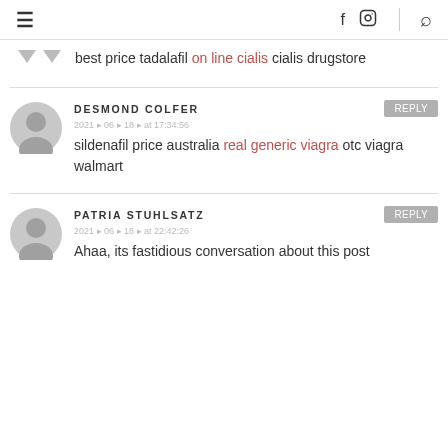≡   f  [instagram]  [search]
best price tadalafil on line cialis cialis drugstore
DESMOND COLFER  Reply
2021 ▸ 06 ▸ 18 ▸ at 17:34:56
sildenafil price australia real generic viagra otc viagra walmart
PATRIA STUHLSATZ  Reply
2021 ▸ 06 ▸ 18 ▸ at 22:42:26
Ahaa, its fastidious conversation about this post